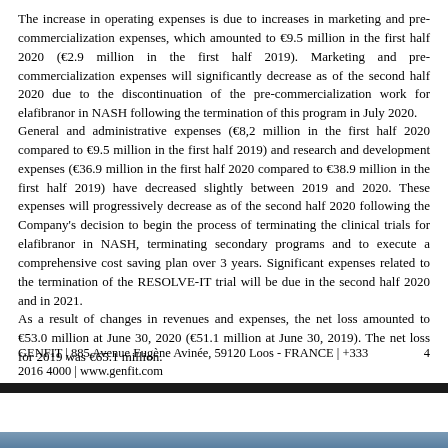The increase in operating expenses is due to increases in marketing and pre-commercialization expenses, which amounted to €9.5 million in the first half 2020 (€2.9 million in the first half 2019). Marketing and pre-commercialization expenses will significantly decrease as of the second half 2020 due to the discontinuation of the pre-commercialization work for elafibranor in NASH following the termination of this program in July 2020.
General and administrative expenses (€8,2 million in the first half 2020 compared to €9.5 million in the first half 2019) and research and development expenses (€36.9 million in the first half 2020 compared to €38.9 million in the first half 2019) have decreased slightly between 2019 and 2020. These expenses will progressively decrease as of the second half 2020 following the Company's decision to begin the process of terminating the clinical trials for elafibranor in NASH, terminating secondary programs and to execute a comprehensive cost saving plan over 3 years. Significant expenses related to the termination of the RESOLVE-IT trial will be due in the second half 2020 and in 2021.
As a result of changes in revenues and expenses, the net loss amounted to €53.0 million at June 30, 2020 (€51.1 million at June 30, 2019). The net loss for 2019 was €65.1 million.
GENFIT | 885 Avenue Eugène Avinée, 59120 Loos - FRANCE | +333 20164000 | www.genfit.com    4